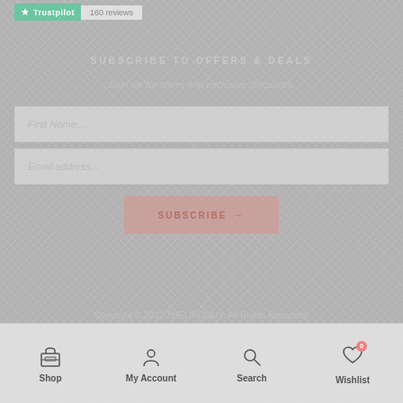[Figure (logo): Trustpilot badge with green star logo and '160 reviews' label]
SUBSCRIBE TO OFFERS & DEALS
Sign up for offers and exclusive discounts.
First Name...
Email address...
SUBSCRIBE →
Copyright © 2022 THELIPOGUY. All Rights Reserved.
[Figure (infographic): Bottom navigation bar with Shop, My Account, Search, and Wishlist icons]